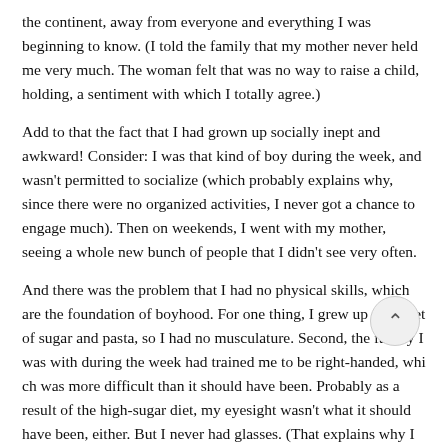the continent, away from everyone and everything I was beginning to know. (I told the family that my mother never held me very much. The woman felt that was no way to raise a child, holding, a sentiment with which I totally agree.)
Add to that the fact that I had grown up socially inept and awkward! Consider: I was that kind of boy during the week, and wasn't permitted to socialize (which probably explains why, since there were no organized activities, I never got a chance to engage much). Then on weekends, I went with my mother, seeing a whole new bunch of people that I didn't see very often.
And there was the problem that I had no physical skills, which are the foundation of boyhood. For one thing, I grew up on a diet of sugar and pasta, so I had no musculature. Second, the family I was with during the week had trained me to be right-handed, which was more difficult than it should have been. Probably as a result of the high-sugar diet, my eyesight wasn't what it should have been, either. But I never had glasses. (That explains why I liked comic books as a child, but didn't like reading them! I wanted to read them, but didn't and never knew why.)
So let's see, my eyesight was problematic, my coordination was off, I had been given very little chance to do much socializing. No wonder I had problems! To say I lacked confidence would understate the case. I was positively petrified!
Then, when I finally did have a girlfriend, I was too sexually inept to keep her, and didn't know how. I couldn't express my desires, either verbally or physically. So she w